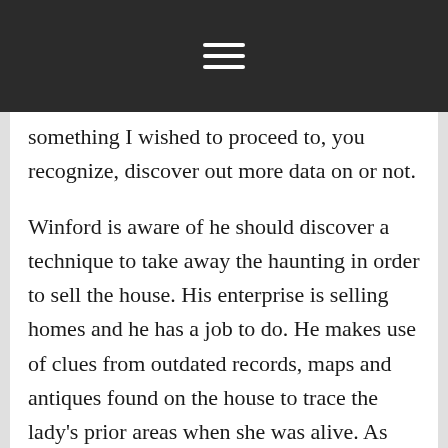[hamburger menu icon]
something I wished to proceed to, you recognize, discover out more data on or not.
Winford is aware of he should discover a technique to take away the haunting in order to sell the house. His enterprise is selling homes and he has a job to do. He makes use of clues from outdated records, maps and antiques found on the house to trace the lady’s prior areas when she was alive. As he’s drawn deeper into this lady’s tragic life, he begins to have actual emotions for her. Now he wants justice for her death. He talks to the police, title researchers and the ghost herself, looking for out who killed her and